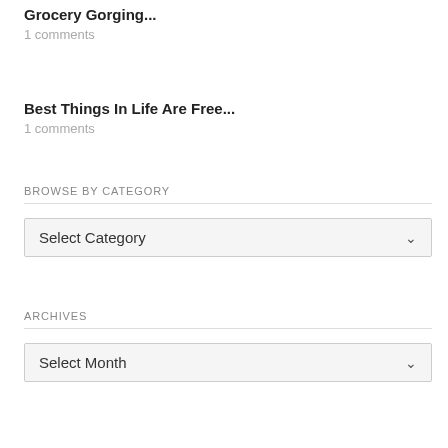Grocery Gorging...
1 comments
Best Things In Life Are Free...
1 comments
BROWSE BY CATEGORY
Select Category
ARCHIVES
Select Month